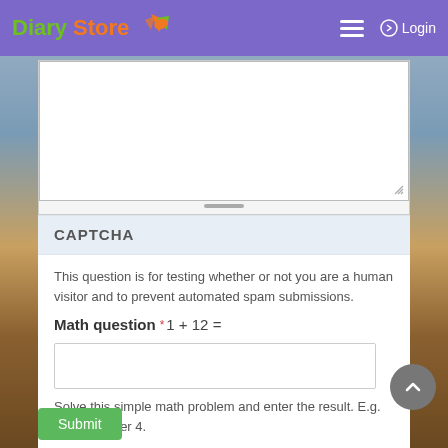Diary Store — Login
CAPTCHA
This question is for testing whether or not you are a human visitor and to prevent automated spam submissions.
Math question *1 + 12 =
Solve this simple math problem and enter the result. E.g. for 1+3, enter 4.